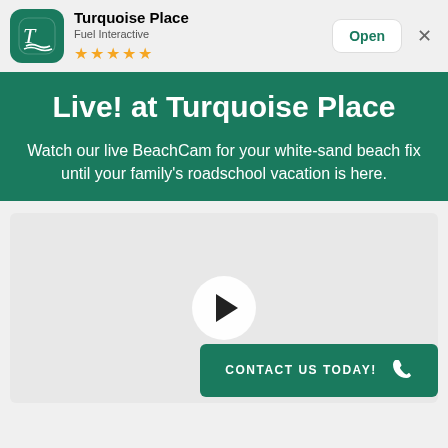[Figure (screenshot): App store banner for Turquoise Place by Fuel Interactive, showing app icon with teal background and TP logo, 4.5 star rating in gold stars, Open button, and close X button]
Live! at Turquoise Place
Watch our live BeachCam for your white-sand beach fix until your family's roadschool vacation is here.
[Figure (screenshot): Video player area with light gray background and circular play button in center]
CONTACT US TODAY!